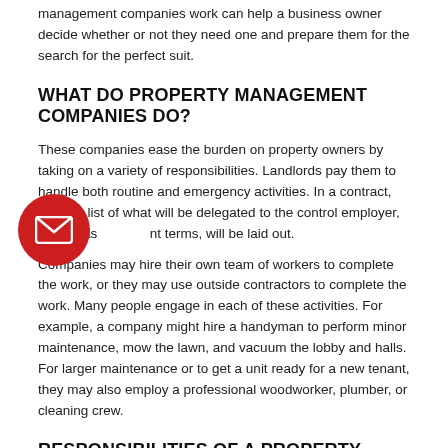management companies work can help a business owner decide whether or not they need one and prepare them for the search for the perfect suit.
WHAT DO PROPERTY MANAGEMENT COMPANIES DO?
These companies ease the burden on property owners by taking on a variety of responsibilities. Landlords pay them to handle both routine and emergency activities. In a contract, the true list of what will be delegated to the control employer, as well as payment terms, will be laid out.
[Figure (illustration): Red circle with white envelope/email icon]
Companies may hire their own team of workers to complete the work, or they may use outside contractors to complete the work. Many people engage in each of these activities. For example, a company might hire a handyman to perform minor maintenance, mow the lawn, and vacuum the lobby and halls. For larger maintenance or to get a unit ready for a new tenant, they may also employ a professional woodworker, plumber, or cleaning crew.
RESPONSIBILITIES OF A PROPERTY